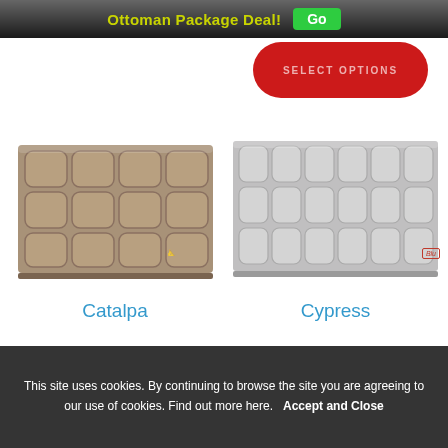Ottoman Package Deal! Go
[Figure (photo): Catalpa upholstered headboard in taupe/grey fabric with square tufted panels, 4 columns x 3 rows of cushioned squares]
Catalpa
[Figure (photo): Cypress upholstered headboard in light grey fabric with square tufted panels, 6 columns x 3 rows of cushioned squares]
Cypress
This site uses cookies. By continuing to browse the site you are agreeing to our use of cookies. Find out more here.   Accept and Close